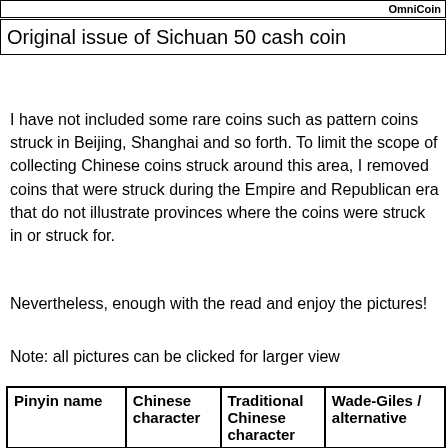OmniCoin
Original issue of Sichuan 50 cash coin
I have not included some rare coins such as pattern coins struck in Beijing, Shanghai and so forth. To limit the scope of collecting Chinese coins struck around this area, I removed coins that were struck during the Empire and Republican era that do not illustrate provinces where the coins were struck in or struck for.
Nevertheless, enough with the read and enjoy the pictures!
Note: all pictures can be clicked for larger view
| Pinyin name | Chinese character | Traditional Chinese character | Wade-Giles / alternative |
| --- | --- | --- | --- |
|  |  |  |  |